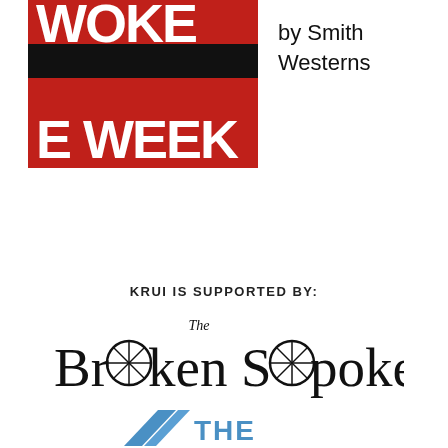[Figure (illustration): Album cover with red background, black censorship bar, and large white text reading 'WOKE WEEK' partially visible]
by Smith Westerns
KRUI IS SUPPORTED BY:
[Figure (logo): The Broken Spoke logo with bicycle wheel imagery integrated into the lettering]
[Figure (logo): Partially visible logo at bottom of page with blue geometric shape and 'THE' text]